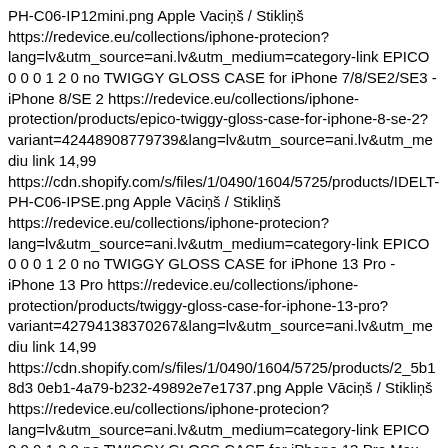PH-C06-IP12mini.png Apple Vaciņš / Stikliņš https://redevice.eu/collections/iphone-protecion?lang=lv&utm_source=ani.lv&utm_medium=category-link EPICO 0 0 0 1 2 0 no TWIGGY GLOSS CASE for iPhone 7/8/SE2/SE3 - iPhone 8/SE 2 https://redevice.eu/collections/iphone-protection/products/epico-twiggy-gloss-case-for-iphone-8-se-2?variant=42448908779739&lang=lv&utm_source=ani.lv&utm_mediu link 14,99 https://cdn.shopify.com/s/files/1/0490/1604/5725/products/IDELT-PH-C06-IPSE.png Apple Vāciņš / Stikliņš https://redevice.eu/collections/iphone-protecion?lang=lv&utm_source=ani.lv&utm_medium=category-link EPICO 0 0 0 1 2 0 no TWIGGY GLOSS CASE for iPhone 13 Pro - iPhone 13 Pro https://redevice.eu/collections/iphone-protection/products/twiggy-gloss-case-for-iphone-13-pro?variant=42794138370267&lang=lv&utm_source=ani.lv&utm_mediu link 14,99 https://cdn.shopify.com/s/files/1/0490/1604/5725/products/2_5b18d3 0eb1-4a79-b232-49892e7e1737.png Apple Vāciņš / Stikliņš https://redevice.eu/collections/iphone-protecion?lang=lv&utm_source=ani.lv&utm_medium=category-link EPICO 0 0 0 1 2 0 no TWIGGY GLOSS CASE for iPhone 13 Pro Max - iPhone 13 Pro Max https://redevice.eu/collections/iphone-protection/products/twiggy-gloss-case-for-iphone-13-pro-max?variant=42856569798875&lang=lv&utm_source=ani.lv&utm_mediu